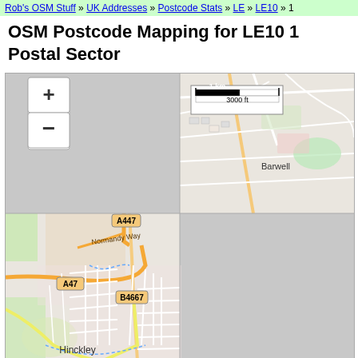Rob's OSM Stuff » UK Addresses » Postcode Stats » LE » LE10 » 1
OSM Postcode Mapping for LE10 1 Postal Sector
[Figure (map): OpenStreetMap tile showing the LE10 1 postal sector area around Hinckley and Barwell, UK. The map shows road networks including A447, A47, B4667, and Normandy Way. The upper-left quadrant is grey (no data), upper-right shows Barwell with a scale bar (1 km / 3000 ft), lower-left shows Hinckley town centre with street detail, and lower-right is grey. Zoom controls (+/-) appear in the upper-left corner.]